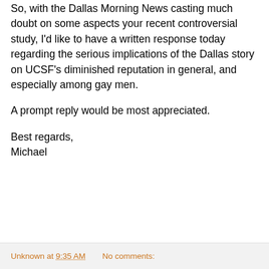So, with the Dallas Morning News casting much doubt on some aspects your recent controversial study, I'd like to have a written response today regarding the serious implications of the Dallas story on UCSF's diminished reputation in general, and especially among gay men.
A prompt reply would be most appreciated.
Best regards,
Michael
Unknown at 9:35 AM    No comments: